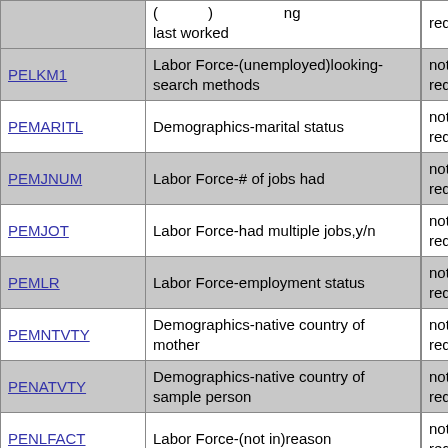| Variable | Description |  |  |
| --- | --- | --- | --- |
| (partial) | (…employment) …ng last worked |  | requi… |
| PELKM1 | Labor Force-(unemployed)looking-search methods |  | not requir… |
| PEMARITL | Demographics-marital status |  | not requir… |
| PEMJNUM | Labor Force-# of jobs had |  | not requir… |
| PEMJOT | Labor Force-had multiple jobs,y/n |  | not requir… |
| PEMLR | Labor Force-employment status |  | not requir… |
| PEMNTVTY | Demographics-native country of mother |  | not requir… |
| PENATVTY | Demographics-native country of sample person |  | not requir… |
| PENLFACT | Labor Force-(not in)reason |  | not requir… |
| PENLFJH | Labor Force-(not in)last worked at job/business |  | not requir… |
| (partial) | Labor Force-(retired) from… |  | not… |